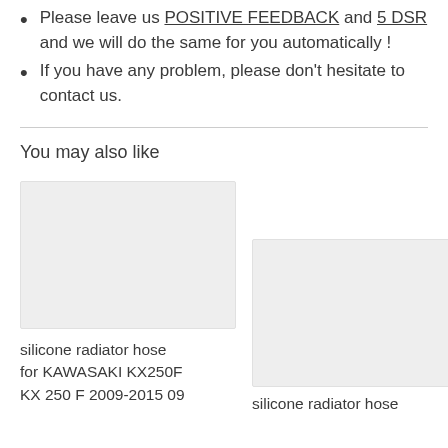Please leave us POSITIVE FEEDBACK and 5 DSR and we will do the same for you automatically !
If you have any problem, please don't hesitate to contact us.
You may also like
[Figure (photo): Product image placeholder for silicone radiator hose (left)]
silicone radiator hose for KAWASAKI KX250F KX 250 F 2009-2015 09
[Figure (photo): Product image placeholder for silicone radiator hose (right)]
silicone radiator hose